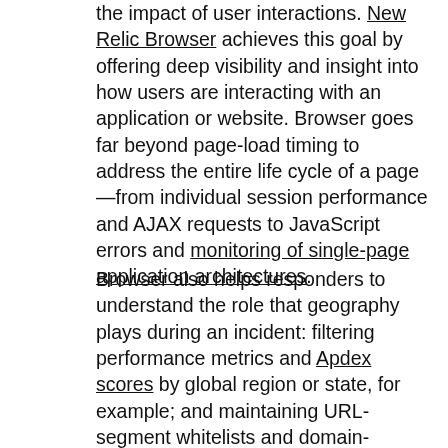the impact of user interactions. New Relic Browser achieves this goal by offering deep visibility and insight into how users are interacting with an application or website. Browser goes far beyond page-load timing to address the entire life cycle of a page—from individual session performance and AJAX requests to JavaScript errors and monitoring of single-page application architectures.
Browser also helps responders to understand the role that geography plays during an incident: filtering performance metrics and Apdex scores by global region or state, for example; and maintaining URL-segment whitelists and domain-specific blocking or monitoring